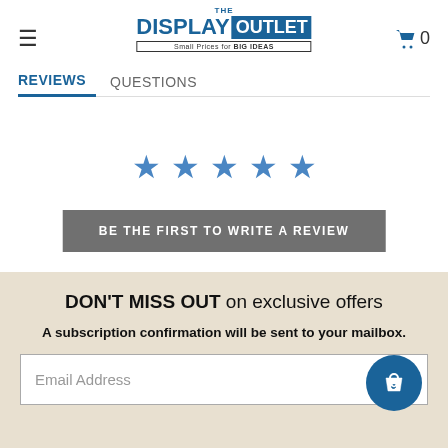[Figure (logo): The Display Outlet logo - blue text with outlet in blue box, tagline Small Prices for BIG IDEAS]
REVIEWS   QUESTIONS
[Figure (illustration): Five blue star rating icons]
BE THE FIRST TO WRITE A REVIEW
DON'T MISS OUT on exclusive offers
A subscription confirmation will be sent to your mailbox.
Email Address